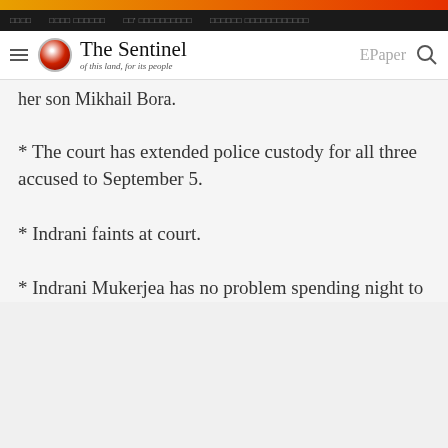The Sentinel – of this land, for its people
her son Mikhail Bora.
* The court has extended police custody for all three accused to September 5.
* Indrani faints at court.
* Indrani Mukerjea has no problem spending night to